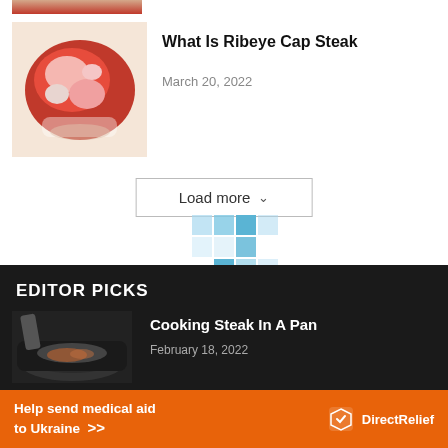[Figure (photo): Partial top image of food/steak, cropped at top of page]
[Figure (photo): Photo of a rolled ribeye cap steak with marbling on a white surface]
What Is Ribeye Cap Steak
March 20, 2022
Load more
[Figure (other): Advertisement placeholder with blue grid/checkerboard pattern and text '· Advertisement ·']
EDITOR PICKS
[Figure (photo): Photo of steak cooking in a dark pan]
Cooking Steak In A Pan
February 18, 2022
[Figure (other): Advertisement banner: Help send medical aid to Ukraine >> Direct Relief]